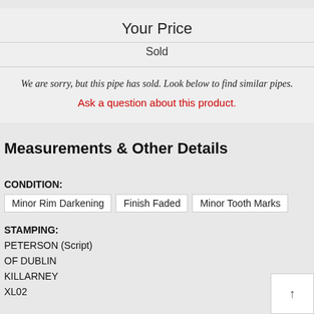Your Price
Sold
We are sorry, but this pipe has sold. Look below to find similar pipes.
Ask a question about this product.
Measurements & Other Details
CONDITION:
Minor Rim Darkening
Finish Faded
Minor Tooth Marks
STAMPING:
PETERSON (Script)
OF DUBLIN
KILLARNEY
XL02